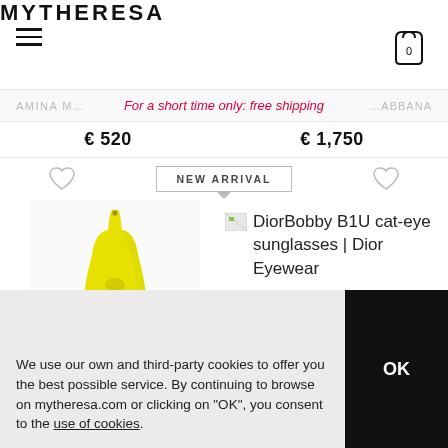MYTHERESA
For a short time only: free shipping
€ 520   € 1,750
NEW ARRIVAL
[Figure (photo): Yellow ruched halter-neck midi dress product photo]
DiorBobby B1U cat-eye sunglasses | Dior Eyewear
We use our own and third-party cookies to offer you the best possible service. By continuing to browse on mytheresa.com or clicking on "OK", you consent to the use of cookies.